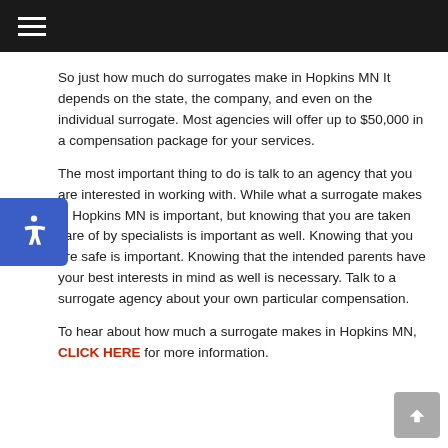≡
So just how much do surrogates make in Hopkins MN It depends on the state, the company, and even on the individual surrogate. Most agencies will offer up to $50,000 in a compensation package for your services.
The most important thing to do is talk to an agency that you are interested in working with. While what a surrogate makes in Hopkins MN is important, but knowing that you are taken care of by specialists is important as well. Knowing that you are safe is important. Knowing that the intended parents have your best interests in mind as well is necessary. Talk to a surrogate agency about your own particular compensation.
To hear about how much a surrogate makes in Hopkins MN, CLICK HERE for more information.